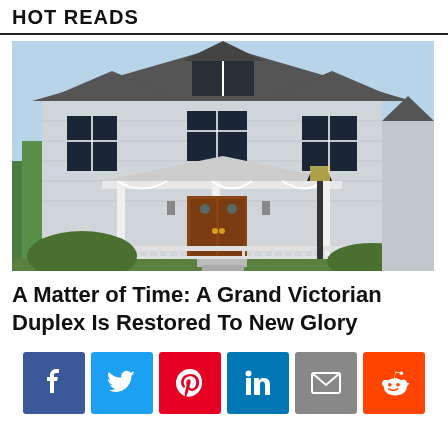HOT READS
[Figure (photo): Large Victorian duplex house with white/gray siding, ornate porch with decorative woodwork, brown double front doors, multiple dormer windows, and a street lamp in the foreground.]
A Matter of Time: A Grand Victorian Duplex Is Restored To New Glory
[Figure (infographic): Social sharing buttons: Facebook (blue), Twitter (cyan), Pinterest (red), LinkedIn (blue), Email (gray), Reddit (orange)]